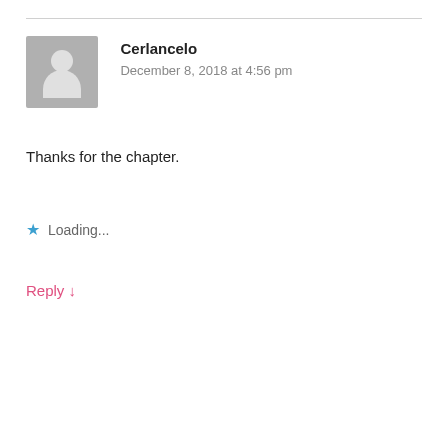Cerlancelo
December 8, 2018 at 4:56 pm
Thanks for the chapter.
★ Loading...
Reply ↓